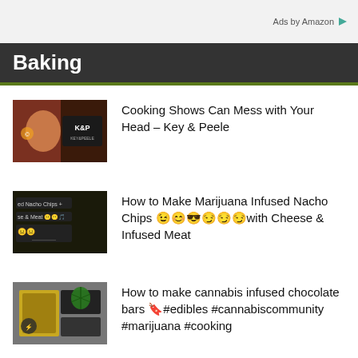Ads by Amazon
Baking
Cooking Shows Can Mess with Your Head – Key & Peele
How to Make Marijuana Infused Nacho Chips 😉😊😎😏😏😏 with Cheese & Infused Meat
How to make cannabis infused chocolate bars 🔖#edibles #cannabiscommunity #marijuana #cooking